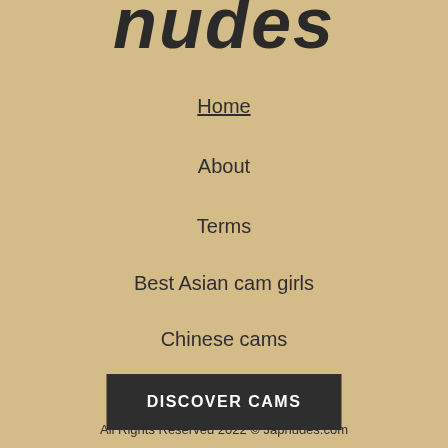nudes
Home
About
Terms
Best Asian cam girls
Chinese cams
DISCOVER CAMS
All Rights Reserved 2022 © Japnudes.com